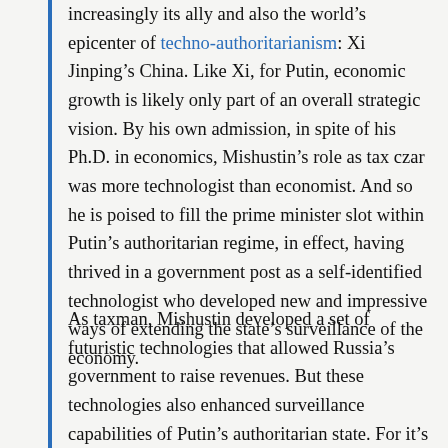increasingly its ally and also the world's epicenter of techno-authoritarianism: Xi Jinping's China. Like Xi, for Putin, economic growth is likely only part of an overall strategic vision. By his own admission, in spite of his Ph.D. in economics, Mishustin's role as tax czar was more technologist than economist. And so he is poised to fill the prime minister slot within Putin's authoritarian regime, in effect, having thrived in a government post as a self-identified technologist who developed new and impressive ways of extending the state's surveillance of the economy.
As taxman, Mishustin developed a set of futuristic technologies that allowed Russia's government to raise revenues. But these technologies also enhanced surveillance capabilities of Putin's authoritarian state. For it's not as if Russia's tax authorities simply